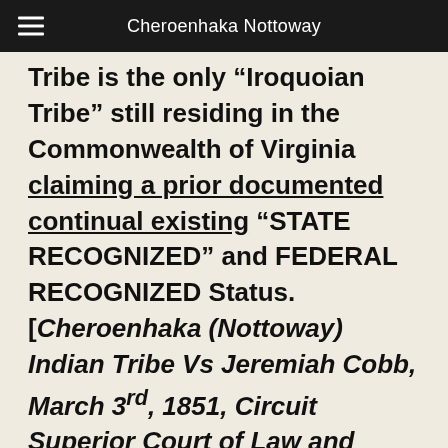Cheroenhaka Nottoway
Tribe is the only “Iroquoian Tribe” still residing in the Commonwealth of Virginia claiming a prior documented continual existing “STATE RECOGNIZED” and FEDERAL RECOGNIZED Status. [Cheroenhaka (Nottoway) Indian Tribe Vs Jeremiah Cobb, March 3rd, 1851, Circuit Superior Court of Law and Chancery for the County of Southampton County]